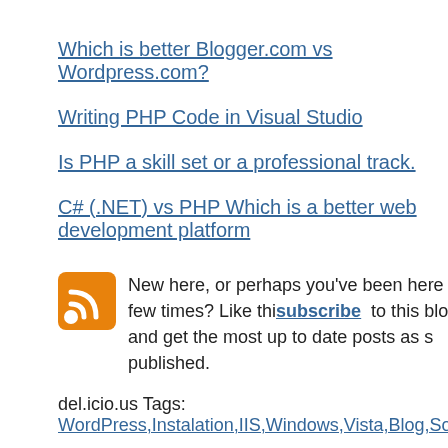Which is better Blogger.com vs Wordpress.com?
Writing PHP Code in Visual Studio
Is PHP a skill set or a professional track.
C# (.NET) vs PHP Which is a better web development platform
New here, or perhaps you've been here a few times? Like thi… subscribe to this blog and get the most up to date posts as s… published.
del.icio.us Tags: WordPress,Instalation,IIS,Windows,Vista,Blog,Sof…
[Figure (other): Red VOTE button with thumbs-up icon]
Tags: